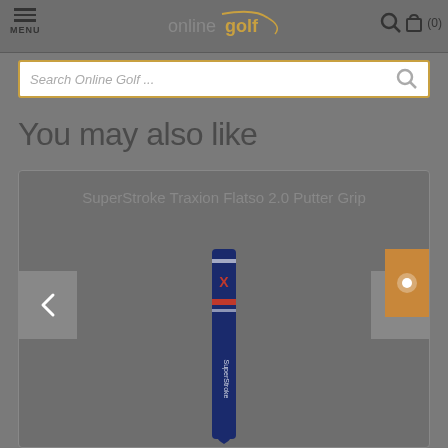MENU | onlinegolf | (0)
Search Online Golf ...
You may also like
SuperStroke Traxion Flatso 2.0 Putter Grip
[Figure (photo): SuperStroke Traxion Flatso 2.0 Putter Grip product image showing a dark blue golf putter grip with red accents and SuperStroke branding]